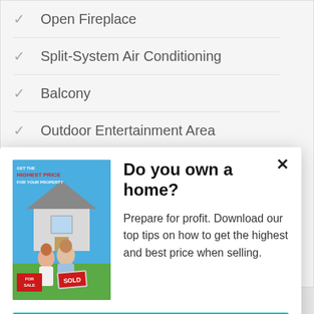Open Fireplace
Split-System Air Conditioning
Balcony
Outdoor Entertainment Area
Remote Garage
[Figure (screenshot): Modal popup with image of couple holding 'For Sale' and 'Sold' signs with text 'Get the Highest Price For Your Property']
Do you own a home?
Prepare for profit. Download our top tips on how to get the highest and best price when selling.